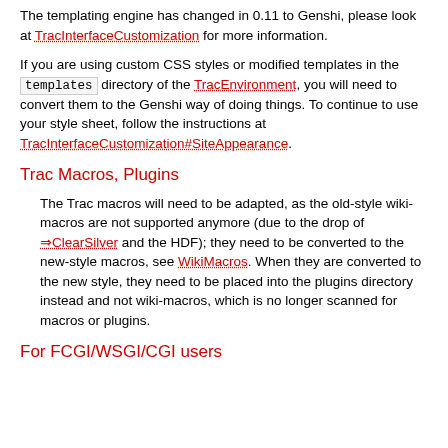The templating engine has changed in 0.11 to Genshi, please look at TracInterfaceCustomization for more information.
If you are using custom CSS styles or modified templates in the `templates` directory of the TracEnvironment, you will need to convert them to the Genshi way of doing things. To continue to use your style sheet, follow the instructions at TracInterfaceCustomization#SiteAppearance.
Trac Macros, Plugins
The Trac macros will need to be adapted, as the old-style wiki-macros are not supported anymore (due to the drop of ⇒ClearSilver and the HDF); they need to be converted to the new-style macros, see WikiMacros. When they are converted to the new style, they need to be placed into the plugins directory instead and not wiki-macros, which is no longer scanned for macros or plugins.
For FCGI/WSGI/CGI users